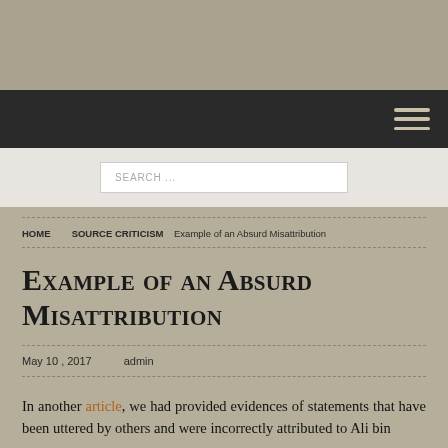[Figure (other): Gray header banner area at top of webpage]
Navigation bar with hamburger menu icon
SEARCH ...
HOME   SOURCE CRITICISM   Example of an Absurd Misattribution
Example of an Absurd Misattribution
May 10, 2017   admin
In another article, we had provided evidences of statements that have been uttered by others and were incorrectly attributed to Ali bin